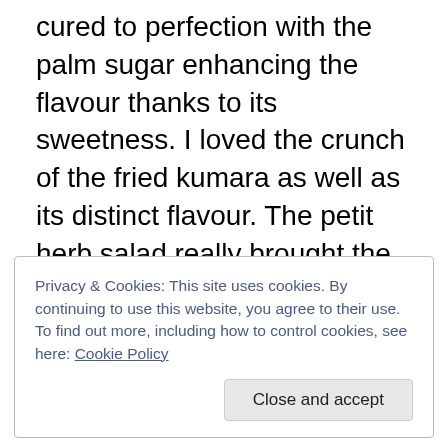cured to perfection with the palm sugar enhancing the flavour thanks to its sweetness. I loved the crunch of the fried kumara as well as its distinct flavour. The petit herb salad really brought the dish together for one flavour explosion in your mouth. Delicious!
The next course was the Mud Crab Coconut Salad with Chilli Lime Dressing, Crispy Rice Crackers. We were told the way to eat this dish was to serve some of the crab onto the crispy rice crackers and eat them together in one go. Doing this gives you the element of crunch followed
Privacy & Cookies: This site uses cookies. By continuing to use this website, you agree to their use.
To find out more, including how to control cookies, see here: Cookie Policy
Close and accept